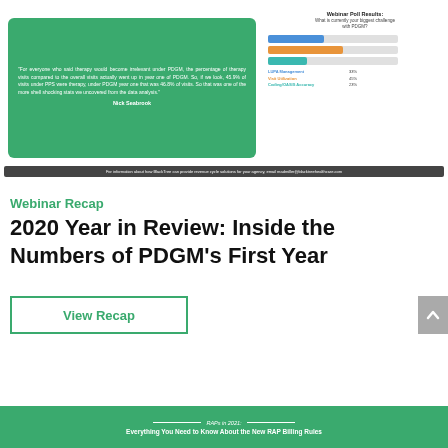[Figure (infographic): Green quote block with avatar photo of Nick Seabrook. Quote text about therapy visits under PDGM. Author credit: Nick Seabrook.]
[Figure (bar-chart): Webinar Poll Results: What is currently your biggest challenge with PDGM?]
For information about how BlackTree can provide revenue cycle solutions for your agency, email madmiller@blacktreehealthcare.com
Webinar Recap
2020 Year in Review: Inside the Numbers of PDGM's First Year
View Recap
[Figure (infographic): Green bottom banner: RAPs in 2021: Everything You Need to Know About the New RAP Billing Rules]